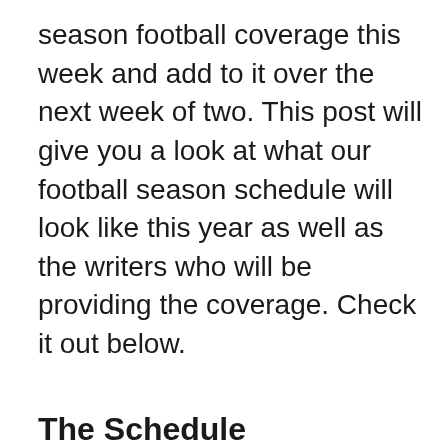season football coverage this week and add to it over the next week of two. This post will give you a look at what our football season schedule will look like this year as well as the writers who will be providing the coverage. Check it out below.
The Schedule